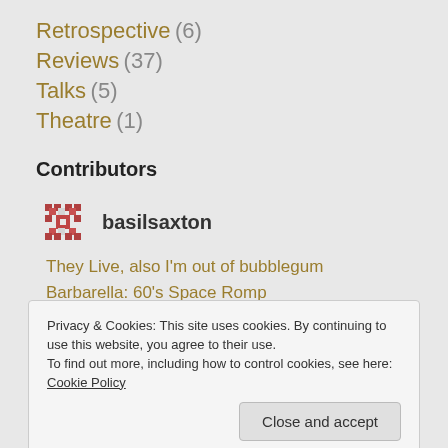Retrospective (6)
Reviews (37)
Talks (5)
Theatre (1)
Contributors
basilsaxton
They Live, also I'm out of bubblegum
Barbarella: 60's Space Romp
Privacy & Cookies: This site uses cookies. By continuing to use this website, you agree to their use.
To find out more, including how to control cookies, see here: Cookie Policy
Close and accept